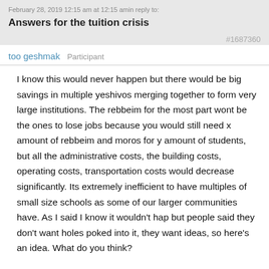February 28, 2019 12:15 am at 12:15 amin reply to:
Answers for the tuition crisis
#1687360
too geshmak   Participant
I know this would never happen but there would be big savings in multiple yeshivos merging together to form very large institutions. The rebbeim for the most part wont be the ones to lose jobs because you would still need x amount of rebbeim and moros for y amount of students, but all the administrative costs, the building costs, operating costs, transportation costs would decrease significantly. Its extremely inefficient to have multiples of small size schools as some of our larger communities have. As I said I know it wouldn't happen but people said they don't want holes poked into it, they want ideas, so here's an idea. What do you think?